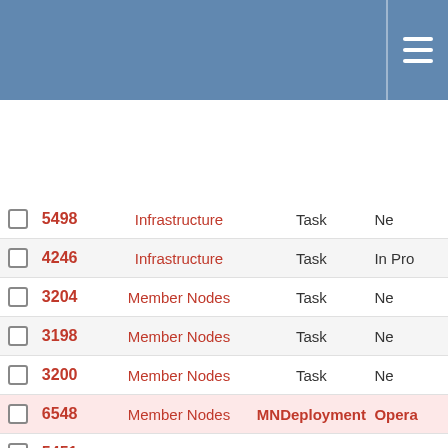|  | ID | Category | Type | Status |
| --- | --- | --- | --- | --- |
|  | 5498 | Infrastructure | Task | Ne… |
|  | 4246 | Infrastructure | Task | In Pro… |
|  | 3204 | Member Nodes | Task | Ne… |
|  | 3198 | Member Nodes | Task | Ne… |
|  | 3200 | Member Nodes | Task | Ne… |
|  | 6548 | Member Nodes | MNDeployment | Opera… |
|  | 5451 | Member Nodes | MNDeployment | Opera… |
|  | 8171 | Infrastructure | Task | Ne… |
|  | 8169 | Infrastructure | Task | Ne… |
|  | 7896 | Member Nodes | Bug | In Pro… |
|  | 8167 | Infrastructure | Story | Ne… |
|  | 8168 | Infrastructure | Task | Ne… |
|  | 8146 | Member Nodes | Task | Ne… |
|  | 7969 | Member Nodes | MNDeployment | Opera… |